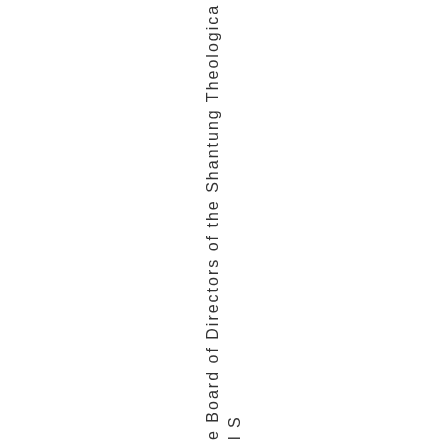e Board of Directors of the Shantung Theological S